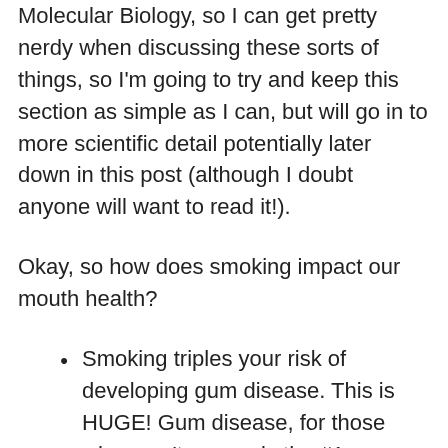Molecular Biology, so I can get pretty nerdy when discussing these sorts of things, so I'm going to try and keep this section as simple as I can, but will go in to more scientific detail potentially later down in this post (although I doubt anyone will want to read it!).
Okay, so how does smoking impact our mouth health?
Smoking triples your risk of developing gum disease. This is HUGE! Gum disease, for those who aren't aware, is the #1 cause of people losing their teeth in the world. Most estimates have anywhere from 70-80% of our